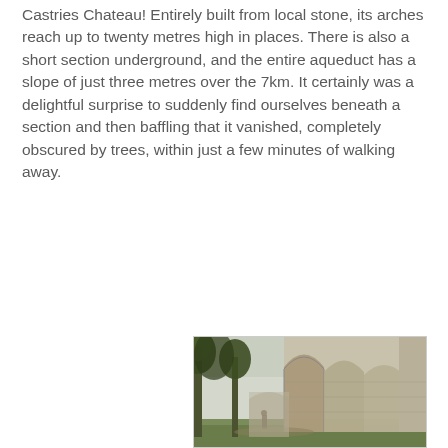Castries Chateau! Entirely built from local stone, its arches reach up to twenty metres high in places. There is also a short section underground, and the entire aqueduct has a slope of just three metres over the 7km. It certainly was a delightful surprise to suddenly find ourselves beneath a section and then baffling that it vanished, completely obscured by trees, within just a few minutes of walking away.
[Figure (photo): Photograph of a large Roman-style stone aqueduct with tall arches stretching into the distance, viewed from ground level beside tall trees. A person stands near the base of the aqueduct for scale, showing the massive height of the stone arches.]